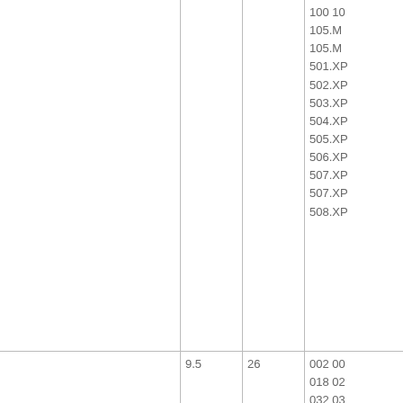|  |  |  | 100 10...
105.M...
105.M...
501.XP...
502.XP...
503.XP...
504.XP...
505.XP...
506.XP...
507.XP...
507.XP...
508.XP... |
|  | 9.5 | 26 | 002 00...
018 02...
032 03...
046 05...
053.M...
053.M...
056.8... |